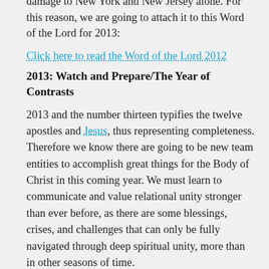hurricane Sandy caused an estimated $80 billion in damage to New York and New Jersey alone. For this reason, we are going to attach it to this Word of the Lord for 2013:
Click here to read the Word of the Lord 2012
2013: Watch and Prepare/The Year of Contrasts
2013 and the number thirteen typifies the twelve apostles and Jesus, thus representing completeness. Therefore we know there are going to be new team entities to accomplish great things for the Body of Christ in this coming year. We must learn to communicate and value relational unity stronger than ever before, as there are some blessings, crises, and challenges that can only be fully navigated through deep spiritual unity, more than in other seasons of time.